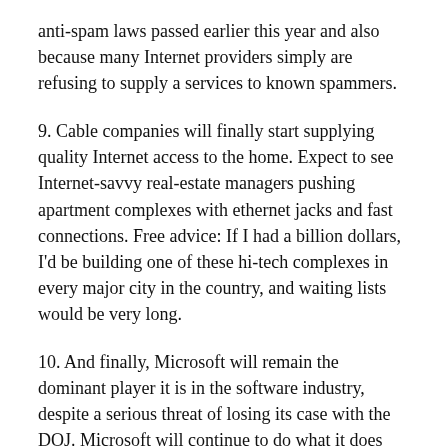anti-spam laws passed earlier this year and also because many Internet providers simply are refusing to supply a services to known spammers.
9. Cable companies will finally start supplying quality Internet access to the home. Expect to see Internet-savvy real-estate managers pushing apartment complexes with ethernet jacks and fast connections. Free advice: If I had a billion dollars, I'd be building one of these hi-tech complexes in every major city in the country, and waiting lists would be very long.
10. And finally, Microsoft will remain the dominant player it is in the software industry, despite a serious threat of losing its case with the DOJ. Microsoft will continue to do what it does best, embrace and extend emerging technologies, sometimes producing a hit, sometimes not.